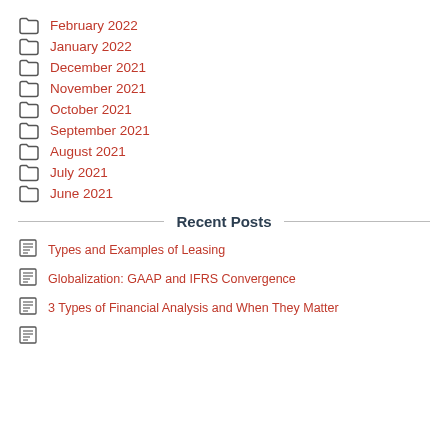February 2022
January 2022
December 2021
November 2021
October 2021
September 2021
August 2021
July 2021
June 2021
Recent Posts
Types and Examples of Leasing
Globalization: GAAP and IFRS Convergence
3 Types of Financial Analysis and When They Matter